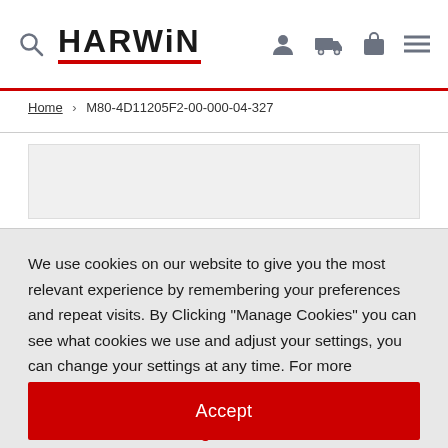HARWIN
Home > M80-4D11205F2-00-000-04-327
[Figure (other): Product image placeholder area (gray box)]
We use cookies on our website to give you the most relevant experience by remembering your preferences and repeat visits. By Clicking "Manage Cookies" you can see what cookies we use and adjust your settings, you can change your settings at any time. For more information view our cookie policy.
Manage Cookies
Accept